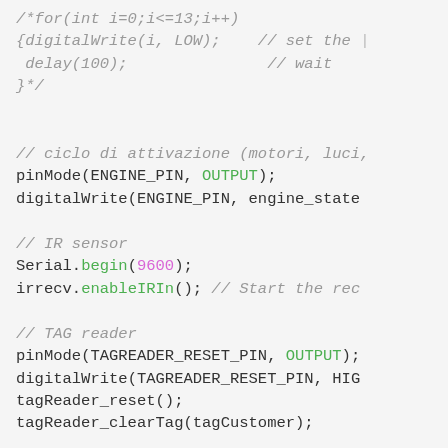/*for(int i=0;i<=13;i++)
{digitalWrite(i, LOW);    // set the
 delay(100);               // wait
}*/
// ciclo di attivazione (motori, luci,
pinMode(ENGINE_PIN, OUTPUT);
digitalWrite(ENGINE_PIN, engine_state
// IR sensor
Serial.begin(9600);
irrecv.enableIRIn(); // Start the rec
// TAG reader
pinMode(TAGREADER_RESET_PIN, OUTPUT);
digitalWrite(TAGREADER_RESET_PIN, HIGH
tagReader_reset();
tagReader_clearTag(tagCustomer);